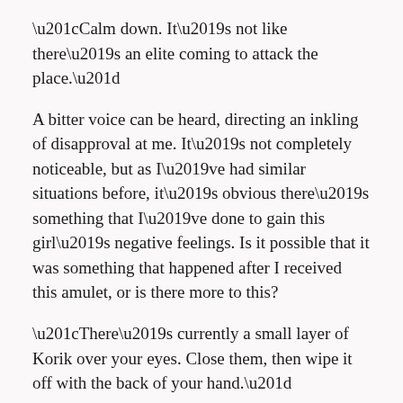“Calm down. It’s not like there’s an elite coming to attack the place.”
A bitter voice can be heard, directing an inkling of disapproval at me. It’s not completely noticeable, but as I’ve had similar situations before, it’s obvious there’s something that I’ve done to gain this girl’s negative feelings. Is it possible that it was something that happened after I received this amulet, or is there more to this?
“There’s currently a small layer of Korik over your eyes. Close them, then wipe it off with the back of your hand.”
I nod and do as she tells me. When I open my eyes, my vision slowly returns. She begins speaking again.
“Honestly, what were you doing? Fainting in the library and becoming an inconvenience. Why is a weakling prince who does such a thing still alive?”